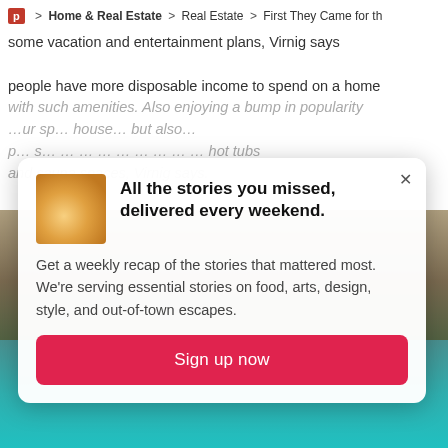Home & Real Estate > Real Estate > First They Came for th
some vacation and entertainment plans, Virnig says people have more disposable income to spend on a home with such amenities. Also enjoying a bump in popularity ... hot tubs and sauna spaces, Virnig says.
[Figure (screenshot): Newsletter signup modal popup with food thumbnail image, title 'All the stories you missed, delivered every weekend.', description text, and red Sign up now button]
All the stories you missed, delivered every weekend.
Get a weekly recap of the stories that mattered most. We're serving essential stories on food, arts, design, style, and out-of-town escapes.
Sign up now
[Figure (photo): Outdoor pool area with wooden deck structure and patio furniture, surrounded by trees]